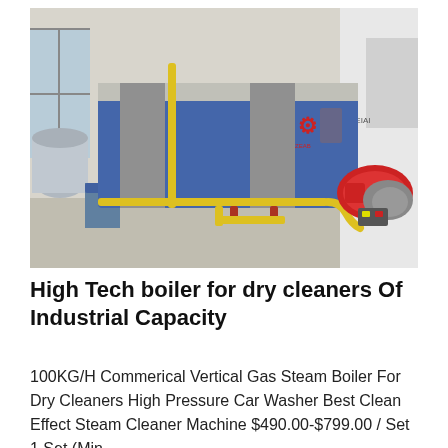[Figure (photo): Industrial steam boiler (horizontal, blue and silver casing) with a red burner mounted on the right side and yellow gas pipes. Photographed indoors in a boiler room with white cylindrical tanks visible on the left.]
High Tech boiler for dry cleaners Of Industrial Capacity
100KG/H Commerical Vertical Gas Steam Boiler For Dry Cleaners High Pressure Car Washer Best Clean Effect Steam Cleaner Machine $490.00-$799.00 / Set 1 Set (Min.